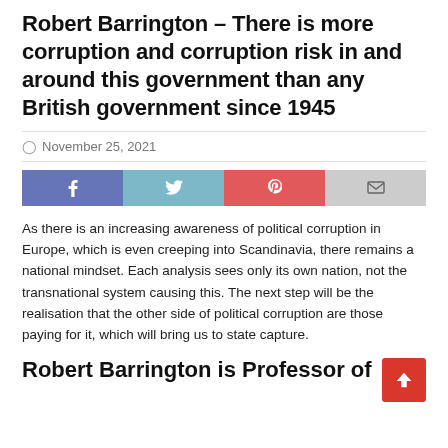Robert Barrington – There is more corruption and corruption risk in and around this government than any British government since 1945
November 25, 2021
[Figure (other): Social share buttons: Facebook, Twitter, Pinterest, Email]
As there is an increasing awareness of political corruption in Europe, which is even creeping into Scandinavia, there remains a national mindset. Each analysis sees only its own nation, not the transnational system causing this. The next step will be the realisation that the other side of political corruption are those paying for it, which will bring us to state capture.
Robert Barrington is Professor of